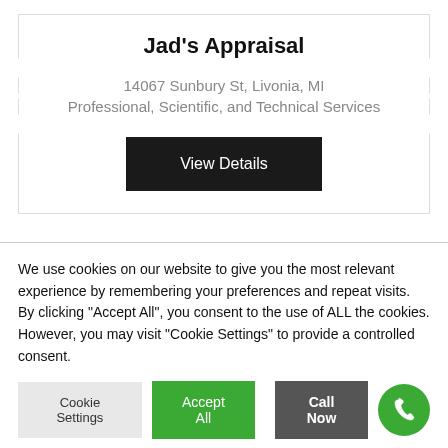Jad's Appraisal
14067 Sunbury St, Livonia, MI
Professional, Scientific, and Technical Services
View Details
We use cookies on our website to give you the most relevant experience by remembering your preferences and repeat visits. By clicking "Accept All", you consent to the use of ALL the cookies. However, you may visit "Cookie Settings" to provide a controlled consent.
Cookie Settings
Accept All
Call Now